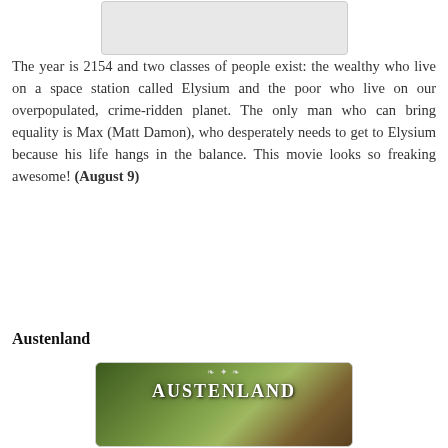[Figure (photo): Top portion of a movie poster image (partially visible, gray/white box)]
The year is 2154 and two classes of people exist: the wealthy who live on a space station called Elysium and the poor who live on our overpopulated, crime-ridden planet. The only man who can bring equality is Max (Matt Damon), who desperately needs to get to Elysium because his life hangs in the balance. This movie looks so freaking awesome! (August 9)
Austenland
[Figure (photo): Movie poster for Austenland showing the title text over a green outdoor estate scene with a woman in the foreground]